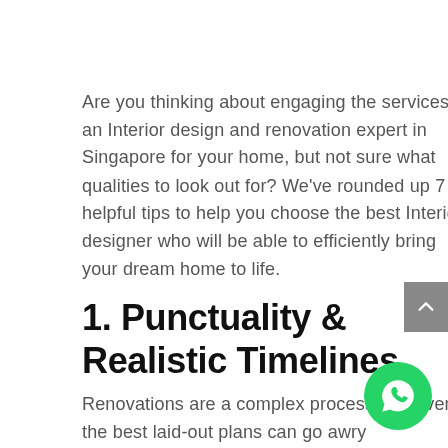Are you thinking about engaging the services of an Interior design and renovation expert in Singapore for your home, but not sure what qualities to look out for? We've rounded up 7 helpful tips to help you choose the best Interior designer who will be able to efficiently bring your dream home to life.
1. Punctuality & Realistic Timelines
Renovations are a complex process and even the best laid-out plans can go awry